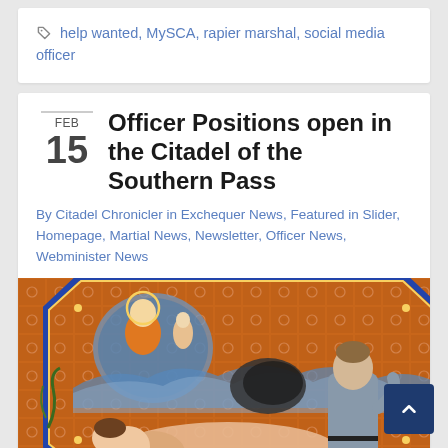help wanted, MySCA, rapier marshal, social media officer
Officer Positions open in the Citadel of the Southern Pass
By Citadel Chronicler in Exchequer News, Featured in Slider, Homepage, Martial News, Newsletter, Officer News, Webminister News
[Figure (illustration): Medieval illuminated manuscript illustration showing figures in a decorated scene with ornate patterned background, featuring a person in orange/gold robes in the upper left and a standing figure in gray below to the right.]